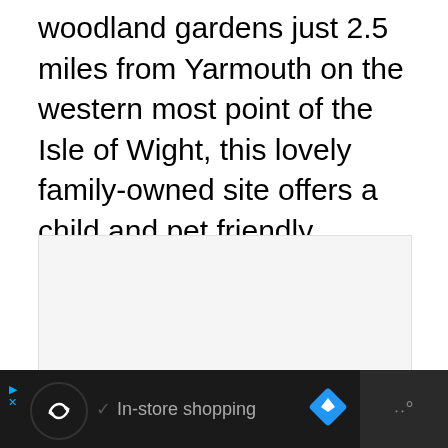woodland gardens just 2.5 miles from Yarmouth on the western most point of the Isle of Wight, this lovely family-owned site offers a child and pet friendly relaxing holiday experience in tranquil rural surroundings.
[Figure (photo): A light gray rectangular placeholder image area below the main text block.]
Ad · In-store shopping